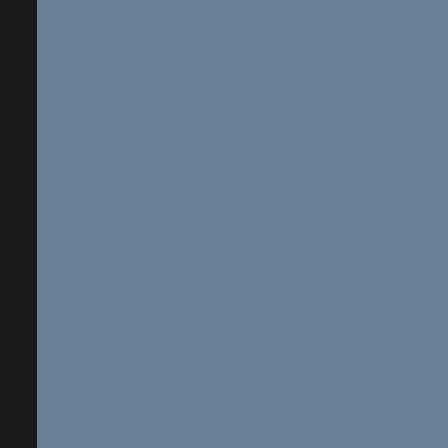metaphysics is a thought provoking as abstractions which are only app phenomena manifest can still serve properties of all galaxies, suns or g create uniqueness upon physical e
Your concept of a 180-degree phys represent it as a 180-degree rotatio geometrically identical though pola seem to share include electron spi Higgs ground state, and all contrib
Thanks again and all the best!
Michael
report post as inappropriate
John David Crowell wrote on Apr. 23, 2020
Peter I added a comment on our th
report post as inappropriate
John David Crowell replied on Apr. 24